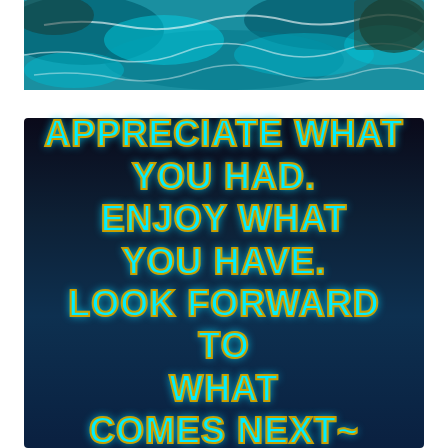[Figure (photo): Aerial view of turquoise blue ocean water with white foam patterns and rocky coastline]
[Figure (illustration): Dark navy background motivational quote panel with cyan and gold outlined bold text reading: APPRECIATE WHAT YOU HAD. ENJOY WHAT YOU HAVE. LOOK FORWARD TO WHAT COMES NEXT~]